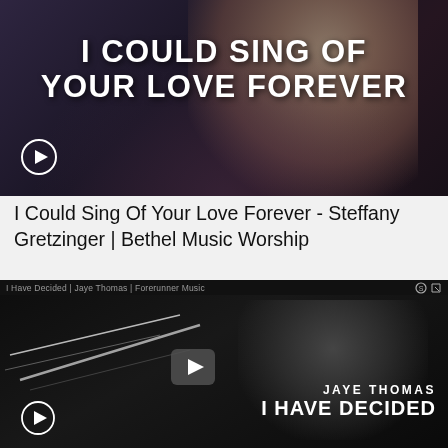[Figure (screenshot): Video thumbnail for 'I Could Sing Of Your Love Forever' by Steffany Gretzinger / Bethel Music Worship. Dark background with a person singing, large white bold text overlay reading 'I COULD SING OF YOUR LOVE FOREVER', play button in bottom left corner.]
I Could Sing Of Your Love Forever - Steffany Gretzinger | Bethel Music Worship
[Figure (screenshot): Video thumbnail for 'I Have Decided' by Jaye Thomas / Forerunner Music. Dark stage performance photo with Jaye Thomas singing into a microphone, diagonal light streaks, play button overlay in center, text 'JAYE THOMAS' and 'I HAVE DECIDED' in white, header bar reads 'I Have Decided | Jaye Thomas | Forerunner Music'.]